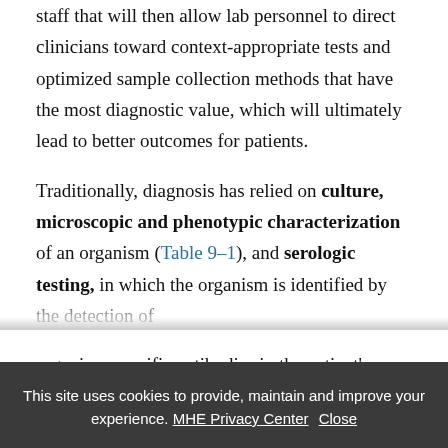staff that will then allow lab personnel to direct clinicians toward context-appropriate tests and optimized sample collection methods that have the most diagnostic value, which will ultimately lead to better outcomes for patients.
Traditionally, diagnosis has relied on culture, microscopic and phenotypic characterization of an organism (Table 9–1), and serologic testing, in which the organism is identified by the detection of organism-specific antibodies in the patient's serum
This site uses cookies to provide, maintain and improve your experience. MHE Privacy Center Close